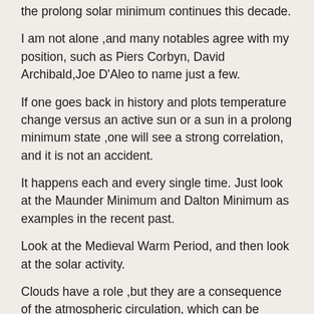the prolong solar minimum continues this decade.
I am not alone ,and many notables agree with my position, such as Piers Corbyn, David Archibald,Joe D'Aleo to name just a few.
If one goes back in history and plots temperature change versus an active sun or a sun in a prolong minimum state ,one will see a strong correlation, and it is not an accident.
It happens each and every single time. Just look at the Maunder Minimum and Dalton Minimum as examples in the recent past.
Look at the Medieval Warm Period, and then look at the solar activity.
Clouds have a role ,but they are a consequence of the atmospheric circulation, which can be shown, because if nothing else past history shows, is a consequence of solar activity.
Each and every time the sun exhibits a prolong solar minimum, the atmospheric circulation tends to be -